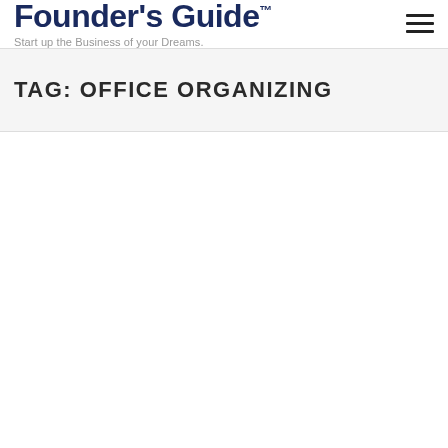Founder's Guide™
Start up the Business of your Dreams.
TAG: OFFICE ORGANIZING